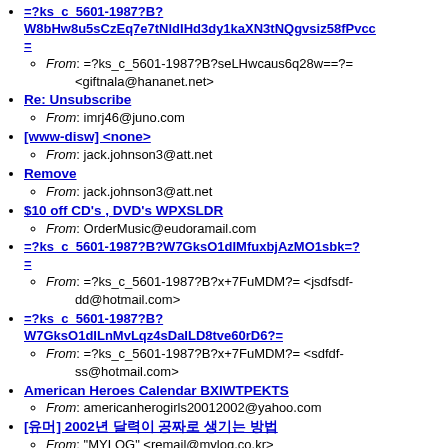=?ks_c_5601-1987?B?W8bHw8u5sCzEq7e7tNldIHd3dy1kaXN3tNQgvsiz58fPvcc=
From: =?ks_c_5601-1987?B?seLHwcaus6q28w==?= <giftnala@hananet.net>
Re: Unsubscribe
From: imrj46@juno.com
[www-disw] <none>
From: jack.johnson3@att.net
Remove
From: jack.johnson3@att.net
$10 off CD's , DVD's WPXSLDR
From: OrderMusic@eudoramail.com
=?ks_c_5601-1987?B?W7GksO1dIMfuxbjAzMO1sbk?==
From: =?ks_c_5601-1987?B?x+7FuMDM?= <jsdfsdf-dd@hotmail.com>
=?ks_c_5601-1987?B?W7GksO1dILnMvLqz4sDaILD8tve60rD6?=
From: =?ks_c_5601-1987?B?x+7FuMDM?= <sdfdf-ss@hotmail.com>
American Heroes Calendar BXIWTPEKTS
From: americanherogirls20012002@yahoo.com
[유머] 2002년 달력이 공짜로 생기는 방법
From: "MYLOG" <remail@mylog.co.kr>